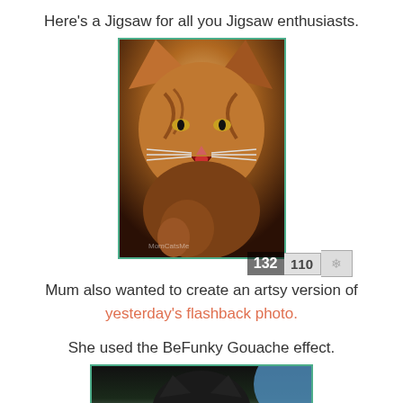Here's a Jigsaw for all you Jigsaw enthusiasts.
[Figure (photo): A tabby cat with mouth open, grooming itself. Brown and orange striped fur. A counter bar at the bottom shows '132' and an input box showing '110' with a snowflake/settings button.]
Mum also wanted to create an artsy version of yesterday's flashback photo.
She used the BeFunky Gouache effect.
[Figure (photo): A cat photo cropped at the bottom of the page, showing a close-up of a cat's face with dark fur and whiskers, with a blue/grey background. Framed with a teal/green border.]